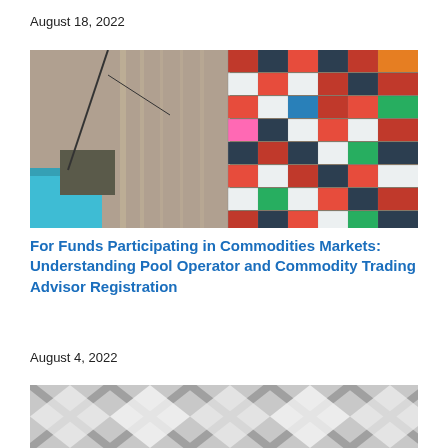August 18, 2022
[Figure (photo): Aerial view of colorful shipping containers at a port/freight terminal with roads and a teal-roofed building]
For Funds Participating in Commodities Markets: Understanding Pool Operator and Commodity Trading Advisor Registration
August 4, 2022
[Figure (photo): Architectural photo of a building ceiling with geometric diamond-shaped glass/metal skylight panels]